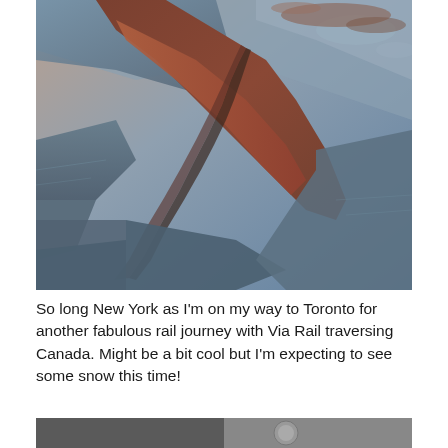[Figure (photo): Aerial photograph of a coastal landform or barrier island with water on both sides, taken at dusk or dawn with warm reddish-brown tones on the land and muted blue-gray water. Roads or paths are visible on the peninsula/spit.]
So long New York as I'm on my way to Toronto for another fabulous rail journey with Via Rail traversing Canada. Might be a bit cool but I'm expecting to see some snow this time!
[Figure (photo): Bottom portion of a second photograph, partially visible at the bottom of the page, appears to show an interior or close-up scene.]